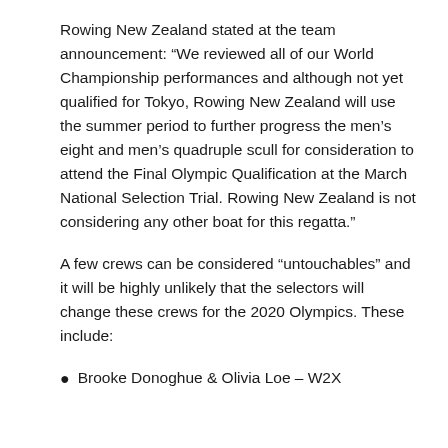Rowing New Zealand stated at the team announcement: “We reviewed all of our World Championship performances and although not yet qualified for Tokyo, Rowing New Zealand will use the summer period to further progress the men’s eight and men’s quadruple scull for consideration to attend the Final Olympic Qualification at the March National Selection Trial. Rowing New Zealand is not considering any other boat for this regatta.”
A few crews can be considered “untouchables” and it will be highly unlikely that the selectors will change these crews for the 2020 Olympics. These include:
Brooke Donoghue & Olivia Loe – W2X